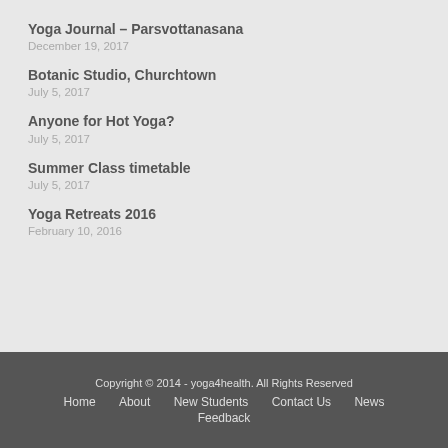Yoga Journal – Parsvottanasana
December 19, 2017
Botanic Studio, Churchtown
July 5, 2017
Anyone for Hot Yoga?
July 5, 2017
Summer Class timetable
July 5, 2017
Yoga Retreats 2016
February 10, 2016
Copyright © 2014 - yoga4health. All Rights Reserved
Home   About   New Students   Contact Us   News
Feedback